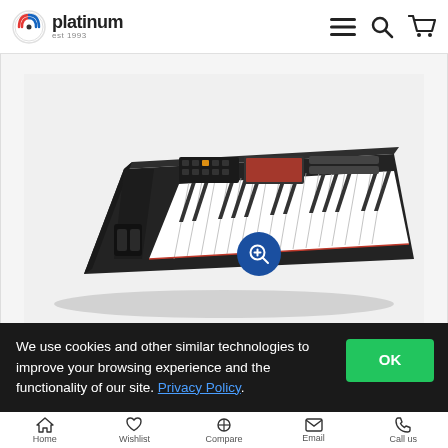platinum est 1993
[Figure (photo): A black MIDI keyboard controller (appears to be a Native Instruments Komplete Kontrol keyboard) with white and black keys, displayed at an angle on a light grey/white background. A blue zoom button with a magnifying glass plus icon is overlaid in the center of the image.]
We use cookies and other similar technologies to improve your browsing experience and the functionality of our site. Privacy Policy.
Home  Wishlist  Compare  Email  Call us